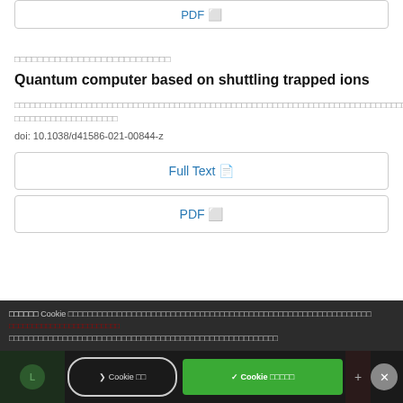[Figure (other): PDF button at top of page]
Thai author names (redacted/unclear)
Quantum computer based on shuttling trapped ions
Thai abstract text (redacted/unclear)
doi: 10.1038/d41586-021-00844-z
[Figure (other): Full Text button]
[Figure (other): PDF button]
Cookie consent bar with Thai text
[Figure (other): Cookie consent buttons bar at bottom]